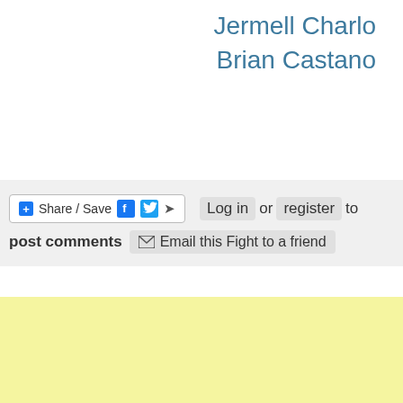Jermell Charlo
Brian Castano
+ Share / Save  [Facebook] [Twitter] [Share]  Log in or register to post comments  ✉ Email this Fight to a friend
[Figure (other): Yellow advertisement banner area]